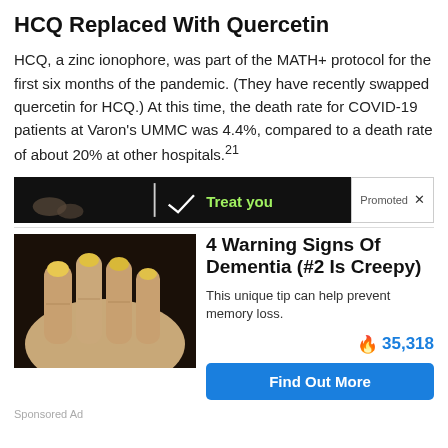HCQ Replaced With Quercetin
HCQ, a zinc ionophore, was part of the MATH+ protocol for the first six months of the pandemic. (They have recently swapped quercetin for HCQ.) At this time, the death rate for COVID-19 patients at Varon's UMMC was 4.4%, compared to a death rate of about 20% at other hospitals.21
[Figure (screenshot): Dark banner ad with green text 'Treat you' and a Promoted label with X button]
[Figure (photo): Close-up photo of a person's hand showing yellowed fingernails]
4 Warning Signs Of Dementia (#2 Is Creepy)
This unique tip can help prevent memory loss.
35,318
Find Out More
Sponsored Ad